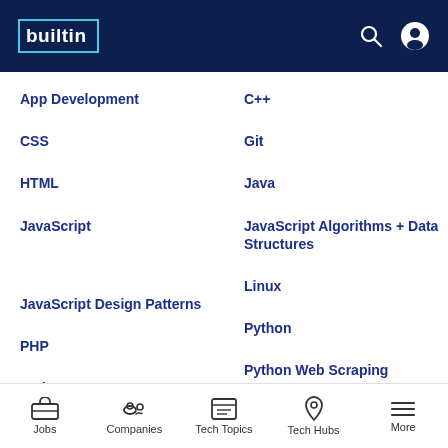built in
App Development
C++
CSS
Git
HTML
Java
JavaScript
JavaScript Algorithms + Data Structures
JavaScript Design Patterns
Linux
PHP
Python
Python Data Structures
Python Web Scraping
Jobs  Companies  Tech Topics  Tech Hubs  More